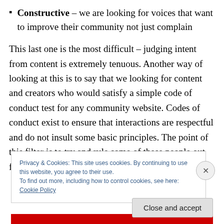Constructive – we are looking for voices that want to improve their community not just complain
This last one is the most difficult – judging intent from content is extremely tenuous. Another way of looking at this is to say that we looking for content and creators who would satisfy a simple code of conduct test for any community website. Codes of conduct exist to ensure that interactions are respectful and do not insult some basic principles. The point of this filter is to try and rule some of these people out from the start. I see this as largely a
Privacy & Cookies: This site uses cookies. By continuing to use this website, you agree to their use.
To find out more, including how to control cookies, see here: Cookie Policy